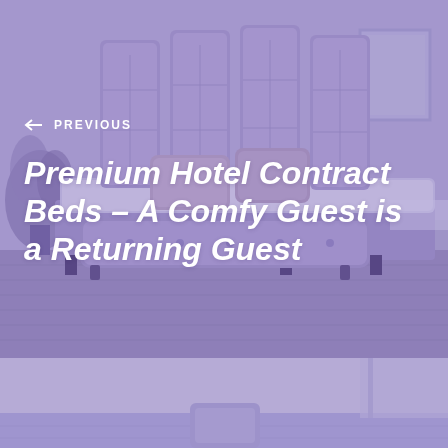[Figure (photo): Purple-tinted hotel room image showing a luxury upholstered bed with tall tufted headboard panels in a velvet fabric, decorative pillows, and a tufted bench at the foot of the bed. Room has wooden flooring and a mirror on the wall. Image has a purple/lavender overlay.]
← PREVIOUS
Premium Hotel Contract Beds – A Comfy Guest is a Returning Guest
[Figure (photo): Bottom portion of a hotel room interior with purple-lavender tint, showing part of what appears to be a room interior with light-colored walls and a partial view of furniture.]